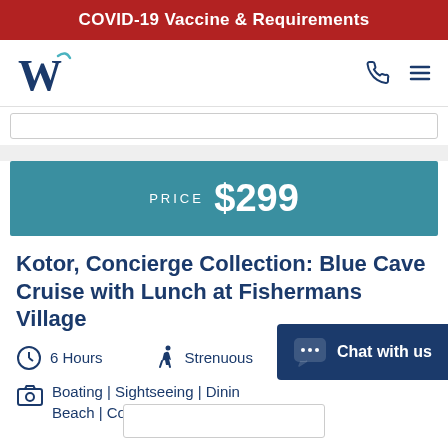COVID-19 Vaccine & Requirements
[Figure (logo): W stylized logo for cruise/travel company, dark navy blue serif W with teal wave accent]
PRICE $299
Kotor, Concierge Collection: Blue Cave Cruise with Lunch at Fishermans Village
6 Hours
Strenuous
Boating | Sightseeing | Dining | Beach | Concierge Collection
Chat with us